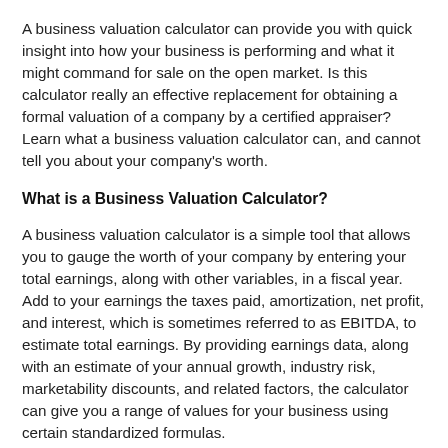A business valuation calculator can provide you with quick insight into how your business is performing and what it might command for sale on the open market. Is this calculator really an effective replacement for obtaining a formal valuation of a company by a certified appraiser? Learn what a business valuation calculator can, and cannot tell you about your company's worth.
What is a Business Valuation Calculator?
A business valuation calculator is a simple tool that allows you to gauge the worth of your company by entering your total earnings, along with other variables, in a fiscal year. Add to your earnings the taxes paid, amortization, net profit, and interest, which is sometimes referred to as EBITDA, to estimate total earnings. By providing earnings data, along with an estimate of your annual growth, industry risk, marketability discounts, and related factors, the calculator can give you a range of values for your business using certain standardized formulas.